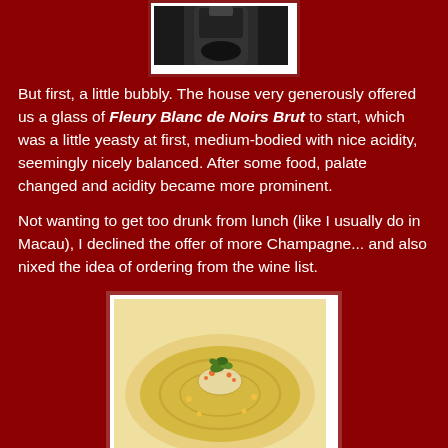[Figure (photo): Partial photo of a wine bottle or glass at top of page]
But first, a little bubbly.  The house very generously offered us a glass of Fleury Blanc de Noirs Brut to start, which was a little yeasty at first, medium-bodied with nice acidity, seemingly nicely balanced.  After some food, palate changed and acidity became more prominent.
Not wanting to get too drunk from lunch (like I usually do in Macau), I declined the offer of more Champagne... and also nixed the idea of ordering from the wine list.
[Figure (photo): Beetroot ravioli amuse bouche in a cream-colored bowl, showing a translucent ravioli garnished with micro herbs and orange pearls in a golden soup]
Our amuse bouche was a beautiful beetroot ravioli, stuffed with diced beetroot and obsiblue prawns.  When we first heard the words "beetroot", both Hello Kitty and I had